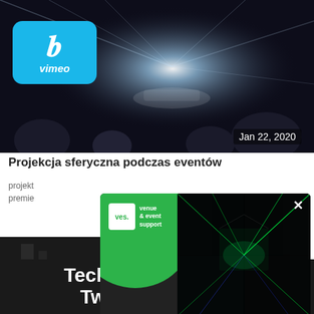[Figure (screenshot): Vimeo video thumbnail showing car reveal event with dramatic lighting and audience, with Vimeo logo badge and date Jan 22, 2020]
Projekcja sferyczna podczas eventów
projekt... premie...
[Figure (screenshot): Popup advertisement for VES (venue & event support) showing laser light show and text TECHNICZNA OBSŁUGA EVENTÓW with a close (x) button]
Techniczna obsługa Twojego eventu!